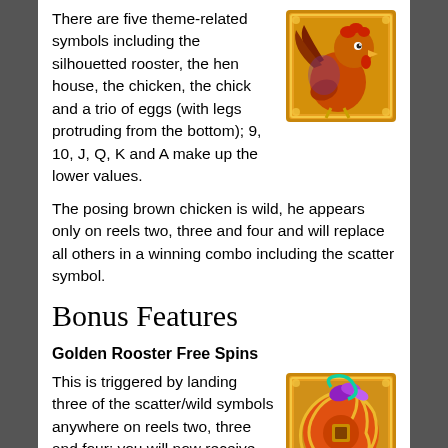There are five theme-related symbols including the silhouetted rooster, the hen house, the chicken, the chick and a trio of eggs (with legs protruding from the bottom); 9, 10, J, Q, K and A make up the lower values.
[Figure (illustration): Golden-framed game card image showing an orange/brown cartoon rooster character on a golden background with decorative border.]
The posing brown chicken is wild, he appears only on reels two, three and four and will replace all others in a winning combo including the scatter symbol.
Bonus Features
Golden Rooster Free Spins
This is triggered by landing three of the scatter/wild symbols anywhere on reels two, three and four; you will now receive ten free spins and during this round the Golden Rooster appears – this symbol acts as both a wild and a scatter and substitutes for all others.
[Figure (illustration): Golden-framed game card image showing a swirling purple/pink and orange circular symbol on a golden background — the Golden Rooster scatter/wild symbol.]